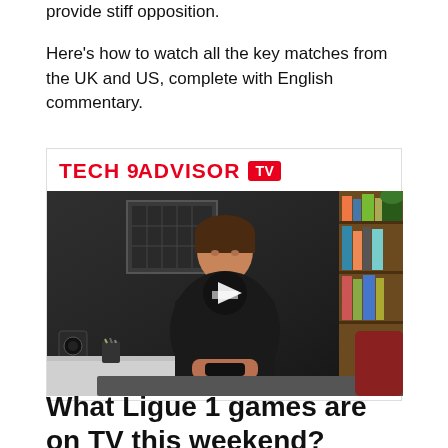provide stiff opposition.
Here's how to watch all the key matches from the UK and US, complete with English commentary.
[Figure (screenshot): Tech Advisor TV video player showing a person sitting at a desk holding a phone, with a play button overlay. Background shows a bookshelf, framed art, and a speaker.]
What Ligue 1 games are on TV this weekend?